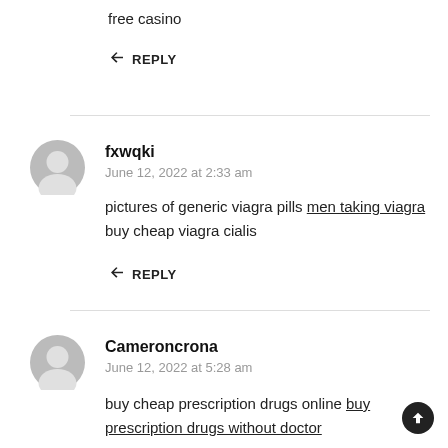free casino
↩ REPLY
fxwqki
June 12, 2022 at 2:33 am
pictures of generic viagra pills men taking viagra buy cheap viagra cialis
↩ REPLY
Cameroncrona
June 12, 2022 at 5:28 am
buy cheap prescription drugs online buy prescription drugs without doctor